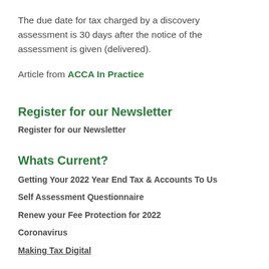The due date for tax charged by a discovery assessment is 30 days after the notice of the assessment is given (delivered).
Article from ACCA In Practice
Register for our Newsletter
Register for our Newsletter
Whats Current?
Getting Your 2022 Year End Tax & Accounts To Us
Self Assessment Questionnaire
Renew your Fee Protection for 2022
Coronavirus
Making Tax Digital